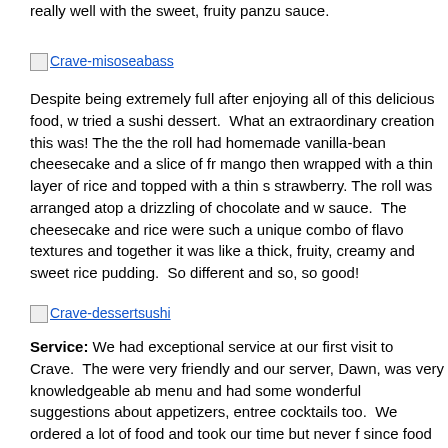really well with the sweet, fruity panzu sauce.
[Figure (other): Image link: Crave-misoseabass]
Despite being extremely full after enjoying all of this delicious food, we tried a sushi dessert. What an extraordinary creation this was! The the roll had homemade vanilla-bean cheesecake and a slice of fresh mango then wrapped with a thin layer of rice and topped with a thin strawberry. The roll was arranged atop a drizzling of chocolate and sauce. The cheesecake and rice were such a unique combo of flavors and textures and together it was like a thick, fruity, creamy and sweet rice pudding. So different and so, so good!
[Figure (other): Image link: Crave-dessertsushi]
Service: We had exceptional service at our first visit to Crave. The were very friendly and our server, Dawn, was very knowledgeable about the menu and had some wonderful suggestions about appetizers, entrees and cocktails too. We ordered a lot of food and took our time but never felt rushed since food was paced perfectly. The restaurant wasn't too busy (nor was the Mall in general) on this pre-holiday-shopping-season Tuesday evening and we were able to get great customer service and attention from everyone all the way up to the manager.